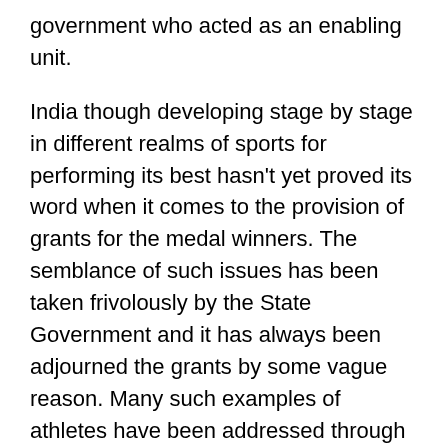conducted by the Indian coaches and the Indian government who acted as an enabling unit.
India though developing stage by stage in different realms of sports for performing its best hasn't yet proved its word when it comes to the provision of grants for the medal winners. The semblance of such issues has been taken frivolously by the State Government and it has always been adjourned the grants by some vague reason. Many such examples of athletes have been addressed through media but most of them in vain.
Saina Nehwal, Indian badminton star was pretty much disappointed when she didn't receive the grants as promised by the CM of Andhra